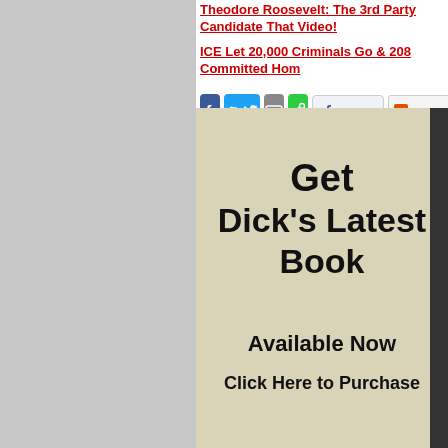Theodore Roosevelt: The 3rd Party Candidate That Video!
ICE Let 20,000 Criminals Go & 208 Committed Hom
[Figure (screenshot): Social sharing buttons: Facebook (blue), Twitter (cyan), Email (gray), Share (green), Facebook Like button showing 0 likes, and a Share button with colored squares]
[Figure (infographic): Advertisement banner with beige/tan background reading: Get Dick's Latest Book - Available Now - Click Here to Purchase, with a partial dark image on the right side]